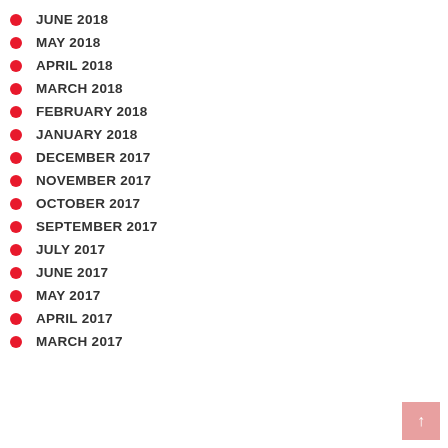JUNE 2018
MAY 2018
APRIL 2018
MARCH 2018
FEBRUARY 2018
JANUARY 2018
DECEMBER 2017
NOVEMBER 2017
OCTOBER 2017
SEPTEMBER 2017
JULY 2017
JUNE 2017
MAY 2017
APRIL 2017
MARCH 2017